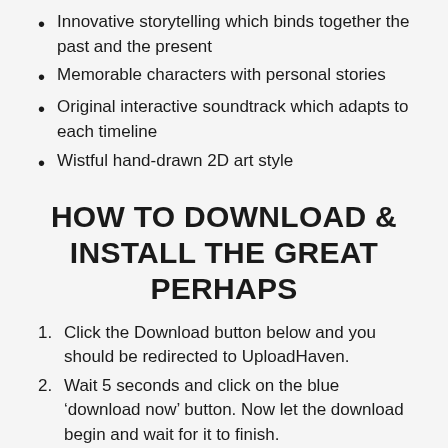Innovative storytelling which binds together the past and the present
Memorable characters with personal stories
Original interactive soundtrack which adapts to each timeline
Wistful hand-drawn 2D art style
HOW TO DOWNLOAD & INSTALL THE GREAT PERHAPS
Click the Download button below and you should be redirected to UploadHaven.
Wait 5 seconds and click on the blue ‘download now’ button. Now let the download begin and wait for it to finish.
Once The Great Perhaps is done downloading.